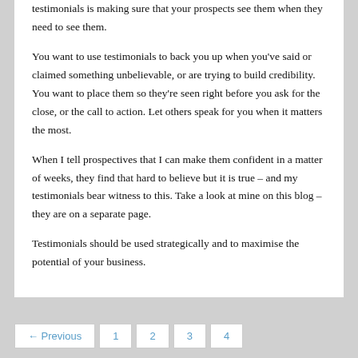testimonials is making sure that your prospects see them when they need to see them.
You want to use testimonials to back you up when you've said or claimed something unbelievable, or are trying to build credibility. You want to place them so they're seen right before you ask for the close, or the call to action. Let others speak for you when it matters the most.
When I tell prospectives that I can make them confident in a matter of weeks, they find that hard to believe but it is true – and my testimonials bear witness to this. Take a look at mine on this blog – they are on a separate page.
Testimonials should be used strategically and to maximise the potential of your business.
← Previous  1  2  3  4